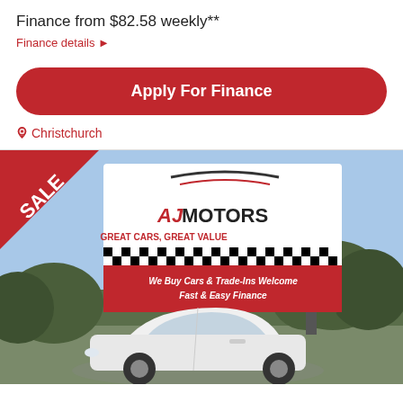Finance from $82.58 weekly**
Finance details ▶
Apply For Finance
📍 Christchurch
[Figure (photo): AJ Motors car dealership sign with a white hatchback car in foreground. Sign reads: AJ MOTORS, GREAT CARS. GREAT VALUE, We Buy Cars & Trade-Ins Welcome, Fast & Easy Finance. Red SALE triangle in top-left corner of image.]